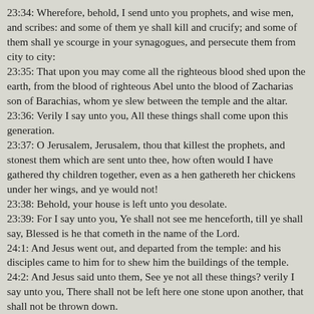23:34: Wherefore, behold, I send unto you prophets, and wise men, and scribes: and some of them ye shall kill and crucify; and some of them shall ye scourge in your synagogues, and persecute them from city to city:
23:35: That upon you may come all the righteous blood shed upon the earth, from the blood of righteous Abel unto the blood of Zacharias son of Barachias, whom ye slew between the temple and the altar.
23:36: Verily I say unto you, All these things shall come upon this generation.
23:37: O Jerusalem, Jerusalem, thou that killest the prophets, and stonest them which are sent unto thee, how often would I have gathered thy children together, even as a hen gathereth her chickens under her wings, and ye would not!
23:38: Behold, your house is left unto you desolate.
23:39: For I say unto you, Ye shall not see me henceforth, till ye shall say, Blessed is he that cometh in the name of the Lord.
24:1: And Jesus went out, and departed from the temple: and his disciples came to him for to shew him the buildings of the temple.
24:2: And Jesus said unto them, See ye not all these things? verily I say unto you, There shall not be left here one stone upon another, that shall not be thrown down.
24:3: And as he sat upon the mount of Olives, the disciples came unto him privately, saying, Tell us, when shall these things be? and what shall be the sign of thy coming, and of the end of the world?